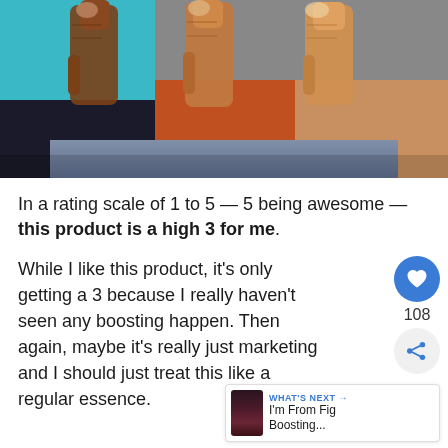[Figure (photo): Three people giving thumbs up, close-up of hands against colorful clothing backgrounds]
In a rating scale of 1 to 5 — 5 being awesome — this product is a high 3 for me.
While I like this product, it's only getting a 3 because I really haven't seen any boosting happen. Then again, maybe it's really just marketing and I should just treat this like a regular essence.
And in the top, while's...